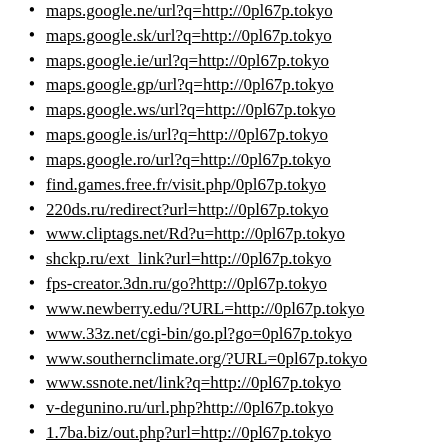maps.google.ne/url?q=http://0pl67p.tokyo
maps.google.sk/url?q=http://0pl67p.tokyo
maps.google.ie/url?q=http://0pl67p.tokyo
maps.google.gp/url?q=http://0pl67p.tokyo
maps.google.ws/url?q=http://0pl67p.tokyo
maps.google.is/url?q=http://0pl67p.tokyo
maps.google.ro/url?q=http://0pl67p.tokyo
find.games.free.fr/visit.php/0pl67p.tokyo
220ds.ru/redirect?url=http://0pl67p.tokyo
www.cliptags.net/Rd?u=http://0pl67p.tokyo
shckp.ru/ext_link?url=http://0pl67p.tokyo
fps-creator.3dn.ru/go?http://0pl67p.tokyo
www.newberry.edu/?URL=http://0pl67p.tokyo
www.33z.net/cgi-bin/go.pl?go=0pl67p.tokyo
www.southernclimate.org/?URL=0pl67p.tokyo
www.ssnote.net/link?q=http://0pl67p.tokyo
v-degunino.ru/url.php?http://0pl67p.tokyo
1.7ba.biz/out.php?url=http://0pl67p.tokyo